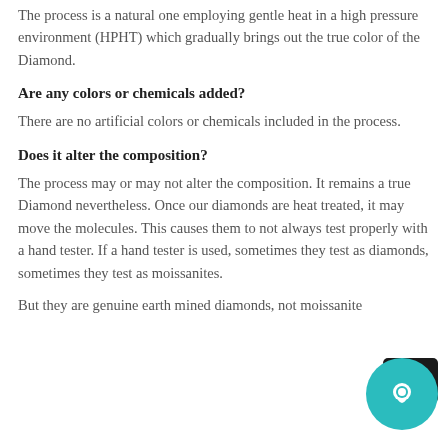The process is a natural one employing gentle heat in a high pressure environment (HPHT) which gradually brings out the true color of the Diamond.
Are any colors or chemicals added?
There are no artificial colors or chemicals included in the process.
Does it alter the composition?
The process may or may not alter the composition. It remains a true Diamond nevertheless. Once our diamonds are heat treated, it may move the molecules. This causes them to not always test properly with a hand tester. If a hand tester is used, sometimes they test as diamonds, sometimes they test as moissanites.
But they are genuine earth mined diamonds, not moissanite